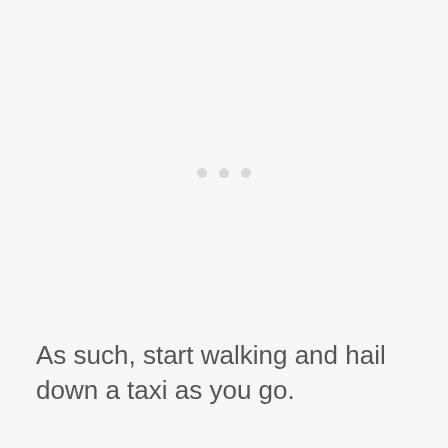[Figure (other): Three small light gray dots arranged horizontally, resembling a loading indicator or ellipsis decoration]
As such, start walking and hail down a taxi as you go.